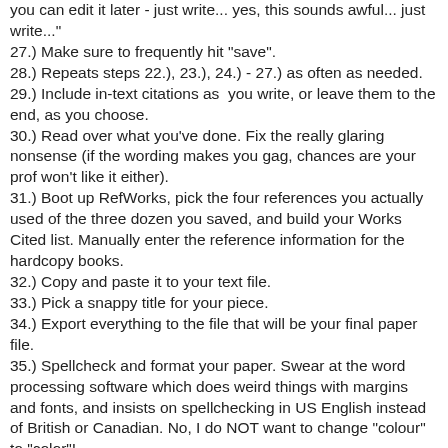you can edit it later - just write... yes, this sounds awful... just write..."
27.) Make sure to frequently hit "save".
28.) Repeats steps 22.), 23.), 24.) - 27.) as often as needed.
29.) Include in-text citations as  you write, or leave them to the end, as you choose.
30.) Read over what you've done. Fix the really glaring nonsense (if the wording makes you gag, chances are your prof won't like it either).
31.) Boot up RefWorks, pick the four references you actually used of the three dozen you saved, and build your Works Cited list. Manually enter the reference information for the hardcopy books.
32.) Copy and paste it to your text file.
33.) Pick a snappy title for your piece.
34.) Export everything to the file that will be your final paper file.
35.) Spellcheck and format your paper. Swear at the word processing software which does weird things with margins and fonts, and insists on spellchecking in US English instead of British or Canadian. No, I do NOT want to change "colour" to "color"!
36.) Hit...